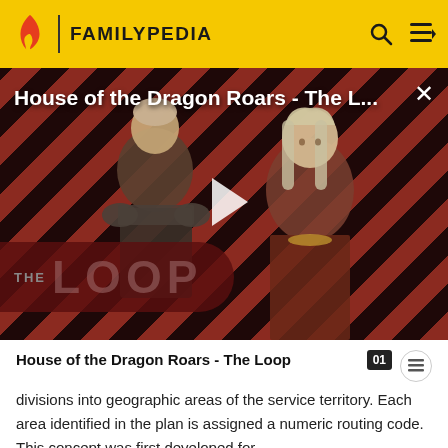FAMILYPEDIA
[Figure (screenshot): Video thumbnail for 'House of the Dragon Roars - The Loop' showing two characters against a diagonal red and black striped background with THE LOOP logo badge and a play button overlay]
House of the Dragon Roars - The Loop
divisions into geographic areas of the service territory. Each area identified in the plan is assigned a numeric routing code. This concept was first developed for